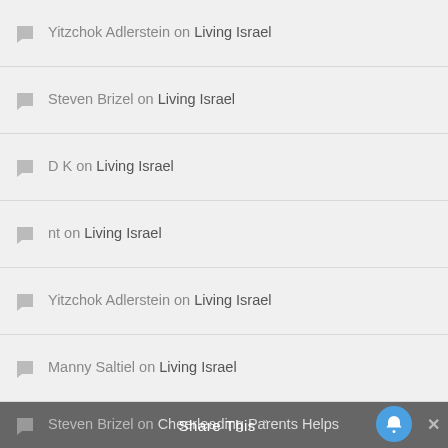Yitzchok Adlerstein on Living Israel
Steven Brizel on Living Israel
D K on Living Israel
nt on Living Israel
Yitzchok Adlerstein on Living Israel
Manny Saltiel on Living Israel
Pete Bloss on Living Israel
Shades of Gray on Google Sanitizing Anne Frank's Diary
Shira Leibowitz Schmidt on Google Sanitizing Anne Frank's Diary
Steven Brizel on Cheerleading Parents Helps